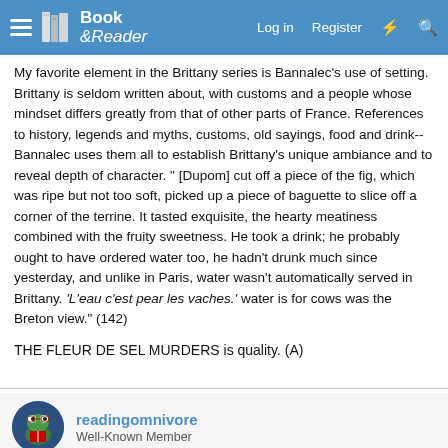Book & Reader — Log in  Register
My favorite element in the Brittany series is Bannalec's use of setting. Brittany is seldom written about, with customs and a people whose mindset differs greatly from that of other parts of France. References to history, legends and myths, customs, old sayings, food and drink--Bannalec uses them all to establish Brittany's unique ambiance and to reveal depth of character. " [Dupom] cut off a piece of the fig, which was ripe but not too soft, picked up a piece of baguette to slice off a corner of the terrine. It tasted exquisite, the hearty meatiness combined with the fruity sweetness. He took a drink; he probably ought to have ordered water too, he hadn't drunk much since yesterday, and unlike in Paris, water wasn't automatically served in Brittany. 'L'eau c'est pear les vaches.' water is for cows was the Breton view." (142)
THE FLEUR DE SEL MURDERS is quality. (A)
readingomnivore
Well-Known Member